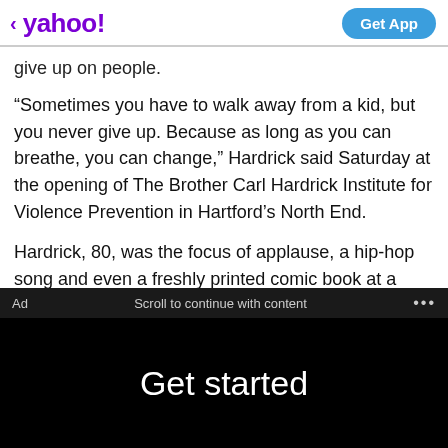yahoo! Get App
give up on people.
“Sometimes you have to walk away from a kid, but you never give up. Because as long as you can breathe, you can change,” Hardrick said Saturday at the opening of The Brother Carl Hardrick Institute for Violence Prevention in Hartford’s North End.
Hardrick, 80, was the focus of applause, a hip-hop song and even a freshly printed comic book at a community block party outside the Wilson-Gray YMCA on Albany Avenue.
Ad   Scroll to continue with content   ...
Get started